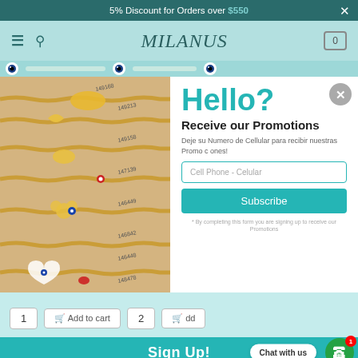5% Discount for Orders over $550
[Figure (logo): Milanus jewelry store logo with script font]
[Figure (photo): Gold jewelry chains and charms on beige background with item codes]
Hello?
Receive our Promotions
Deje su Numero de Cellular para recibir nuestras Promociones!
Cell Phone - Celular
Subscribe
* By completing this form you are signing up to receive our Promotions
1  Add to cart   2
Sign Up!